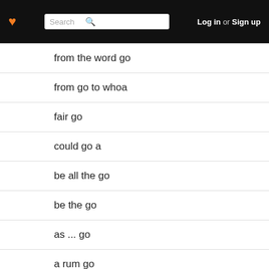Log in or Sign up
from the word go
from go to whoa
fair go
could go a
be all the go
be the go
as ... go
a rum go
as things go